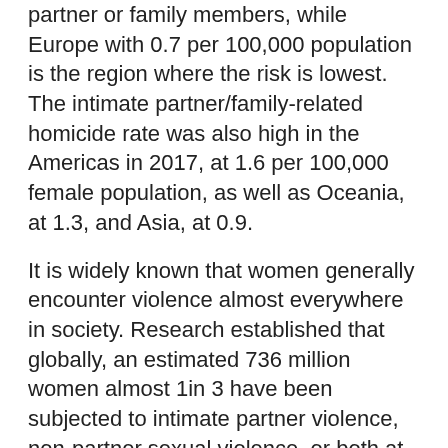partner or family members, while Europe with 0.7 per 100,000 population is the region where the risk is lowest. The intimate partner/family-related homicide rate was also high in the Americas in 2017, at 1.6 per 100,000 female population, as well as Oceania, at 1.3, and Asia, at 0.9.
It is widely known that women generally encounter violence almost everywhere in society. Research established that globally, an estimated 736 million women almost 1in 3 have been subjected to intimate partner violence, non-partner sexual violence, or both at least once in their life (30 per cent of women aged 15 and older). Current or former husbands or intimate partners perpetrate most violence against women. More than 640 million women aged 15 and older have been subjected to intimate partner violence (26 per cent